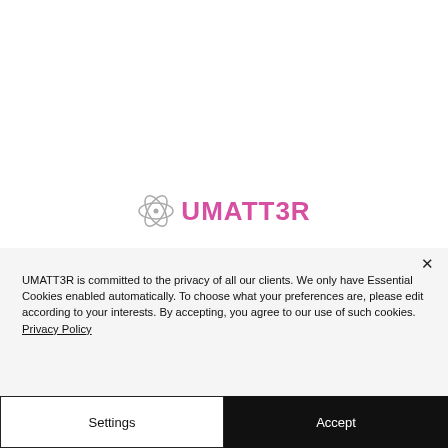[Figure (logo): UMATT3R logo with atomic/molecule icon in gray and purple text]
UMATT3R is committed to the privacy of all our clients. We only have Essential Cookies enabled automatically. To choose what your preferences are, please edit according to your interests. By accepting, you agree to our use of such cookies. Privacy Policy